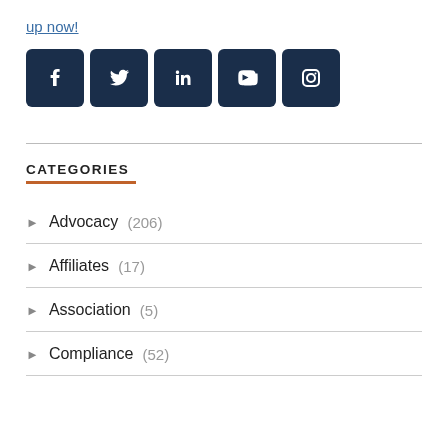up now!
[Figure (logo): Row of five social media icons: Facebook, Twitter, LinkedIn, YouTube, Instagram — each white icon on a dark navy rounded square background]
CATEGORIES
Advocacy (206)
Affiliates (17)
Association (5)
Compliance (52)